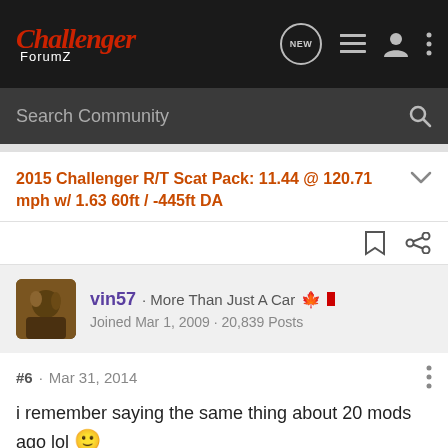Challenger ForumZ - NEW - navigation icons
Search Community
2015 Challenger R/T Scat Pack: 11.44 @ 120.71 mph w/ 1.63 60ft / -445ft DA
vin57 · More Than Just A Car 🇨🇦 Joined Mar 1, 2009 · 20,839 Posts
#6 · Mar 31, 2014
i remember saying the same thing about 20 mods ago lol 🙂